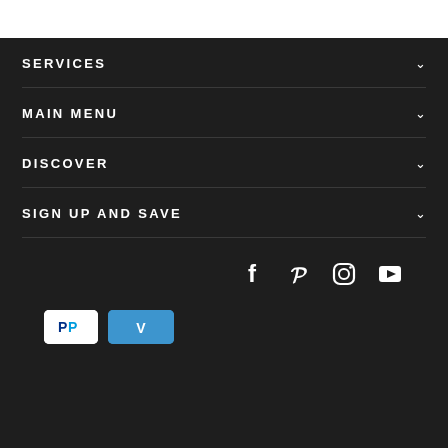SERVICES
MAIN MENU
DISCOVER
SIGN UP AND SAVE
[Figure (infographic): Social media icons: Facebook, Pinterest, Instagram, YouTube]
[Figure (infographic): Payment badges: PayPal and Venmo]